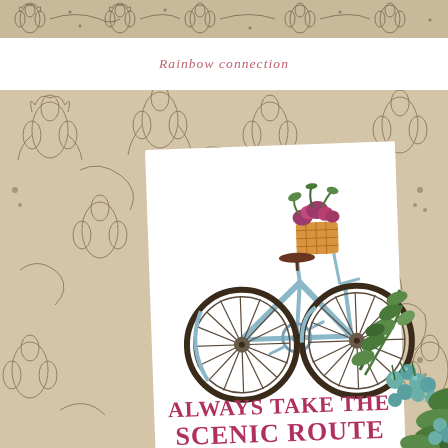[Figure (photo): Top strip: decorative botanical/floral wallpaper pattern in brown and cream tones, shown as a horizontal banner at the top of the page]
Rainbow connection
[Figure (photo): Main photograph showing a decorative art print of a blue bicycle with a flower basket on the front, overlaid on a brown and cream floral wallpaper background. The print reads 'ALWAYS TAKE THE SCENIC ROUTE' in pink/maroon hand-lettered text. Green eucalyptus stems and teal berries are visible in the lower right corner of the photo.]